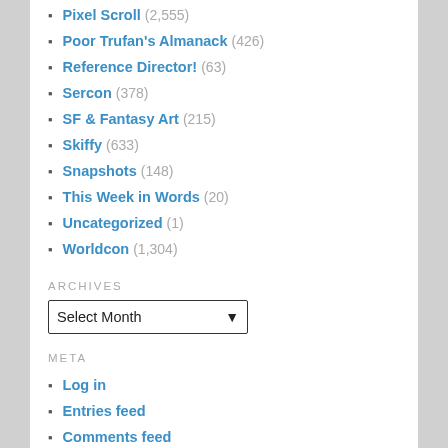Pixel Scroll (2,555)
Poor Trufan's Almanack (426)
Reference Director! (63)
Sercon (378)
SF & Fantasy Art (215)
Skiffy (633)
Snapshots (148)
This Week in Words (20)
Uncategorized (1)
Worldcon (1,304)
ARCHIVES
Select Month
META
Log in
Entries feed
Comments feed
WordPress.org